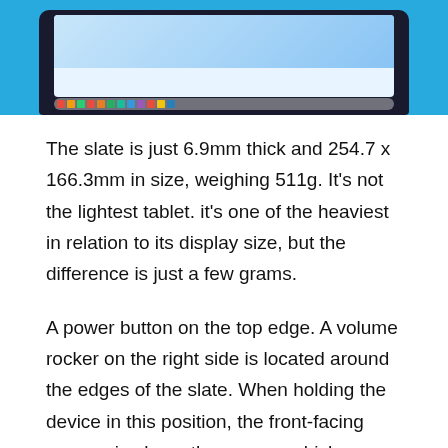[Figure (photo): A tablet device shown from above against a bright blue background, displaying a screen with app icons in a dock row at the bottom.]
The slate is just 6.9mm thick and 254.7 x 166.3mm in size, weighing 511g. It's not the lightest tablet. it's one of the heaviest in relation to its display size, but the difference is just a few grams.
A power button on the top edge. A volume rocker on the right side is located around the edges of the slate. When holding the device in this position, the front-facing camera is above the screen, which means that when you're on a video chat and looking at the display, you appear to be staring far away from the camera, which isn't ideal. Some tablets include a front-facing camera on the top side, which is better for video calls.